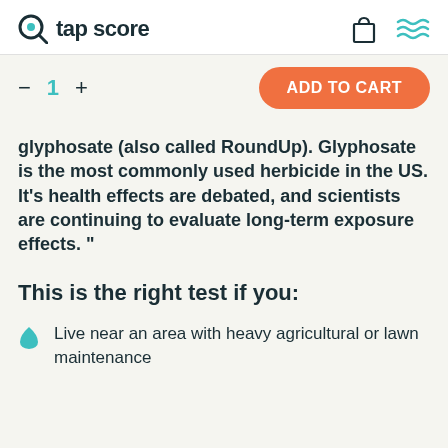tap score
- 1 + ADD TO CART
glyphosate (also called RoundUp). Glyphosate is the most commonly used herbicide in the US. It's health effects are debated, and scientists are continuing to evaluate long-term exposure effects. "
This is the right test if you:
Live near an area with heavy agricultural or lawn maintenance